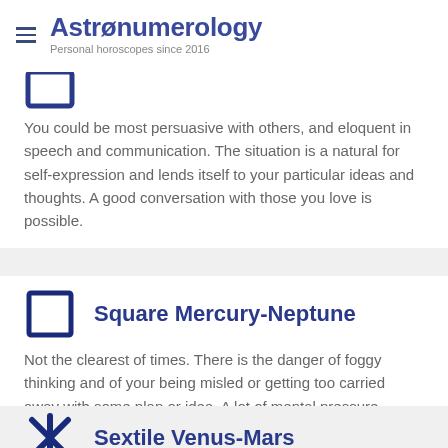Astronumerology — Personal horoscopes since 2016
[Figure (illustration): Partial zodiac/aspect icon at top, cropped]
You could be most persuasive with others, and eloquent in speech and communication. The situation is a natural for self-expression and lends itself to your particular ideas and thoughts. A good conversation with those you love is possible.
[Figure (illustration): Square symbol icon — empty square outline in dark blue]
Square Mercury-Neptune
Not the clearest of times. There is the danger of foggy thinking and of your being misled or getting too carried away with some plan or idea. A lot of mental pressure.
[Figure (illustration): Sextile symbol — X cross asterisk in dark blue]
Sextile Venus-Mars